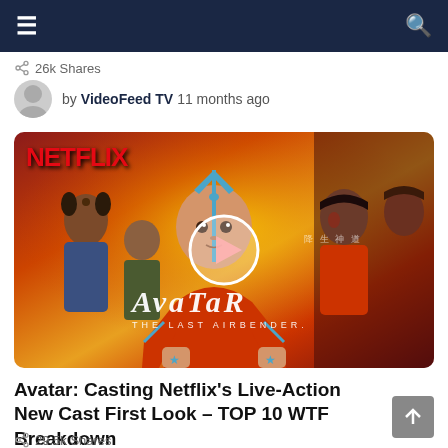Navigation bar with hamburger menu and search icon
26k Shares
by VideoFeed TV  11 months ago
[Figure (screenshot): Avatar: The Last Airbender Netflix thumbnail image with play button overlay, showing animated characters including Aang with blue arrow on head, Katara, Toph, and Zuko with NETFLIX logo in red at top left and AVATAR THE LAST AIRBENDER text at bottom]
Avatar: Casting Netflix's Live-Action New Cast First Look – TOP 10 WTF Breakdown
29.5k Shares